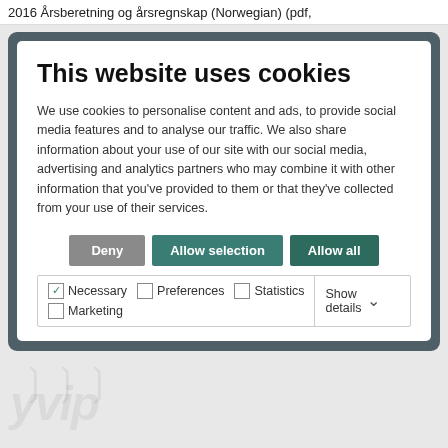2016 Årsberetning og årsregnskap (Norwegian) (pdf,
This website uses cookies
We use cookies to personalise content and ads, to provide social media features and to analyse our traffic. We also share information about your use of our site with our social media, advertising and analytics partners who may combine it with other information that you've provided to them or that they've collected from your use of their services.
[Figure (screenshot): Cookie consent dialog with three buttons (Deny, Allow selection, Allow all) and checkboxes for Necessary, Preferences, Statistics, Marketing with Show details option]